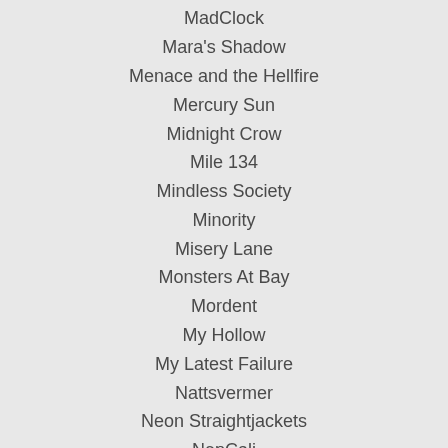MadClock
Mara's Shadow
Menace and the Hellfire
Mercury Sun
Midnight Crow
Mile 134
Mindless Society
Minority
Misery Lane
Monsters At Bay
Mordent
My Hollow
My Latest Failure
Nattsvermer
Neon Straightjackets
NepCali
Never Kenezzard
No Buffer
Not For Saints
Nova Luna
Nova-Scene